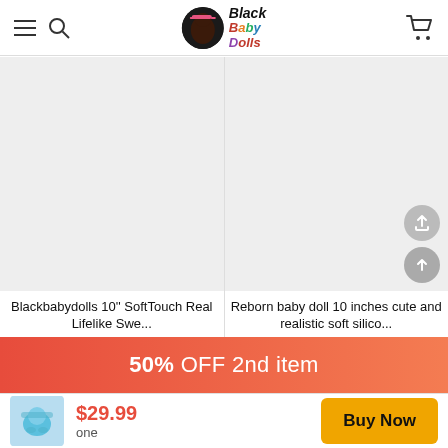[Figure (screenshot): Website header with hamburger menu, search icon, Black Baby Dolls logo, and cart icon]
[Figure (photo): Product image placeholder (light gray box) for Blackbabydolls 10'' SoftTouch Real Lifelike Swe...]
Blackbabydolls 10'' SoftTouch Real Lifelike Swe...
[Figure (photo): Product image placeholder (light gray box) for Reborn baby doll 10 inches cute and realistic soft silico...]
Reborn baby doll 10 inches cute and realistic soft silico...
50% OFF 2nd item
[Figure (photo): Small product thumbnail of a blue baby doll]
$29.99
one
Buy Now